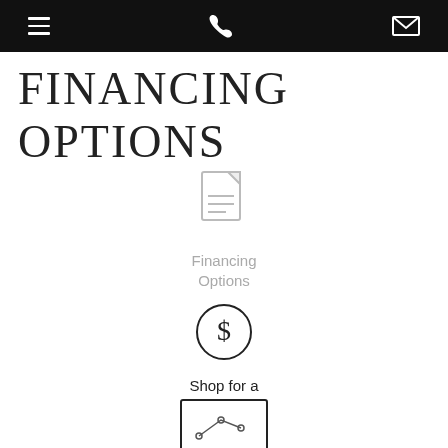navigation bar with menu, phone, and envelope icons
FINANCING OPTIONS
[Figure (illustration): Document/page icon with lines representing text, light gray, labeled Financing Options]
Financing Options
[Figure (illustration): Circle with dollar sign icon, labeled Shop for a Loan]
Shop for a Loan
[Figure (illustration): Rectangle with a line chart icon inside]